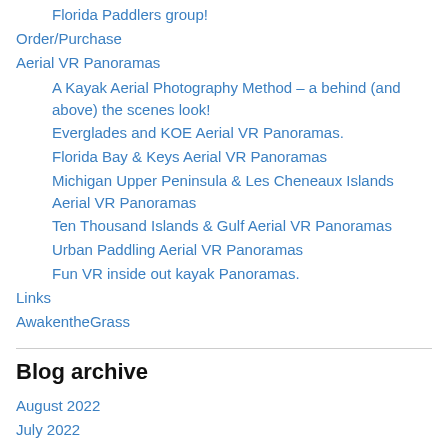Florida Paddlers group!
Order/Purchase
Aerial VR Panoramas
A Kayak Aerial Photography Method – a behind (and above) the scenes look!
Everglades and KOE Aerial VR Panoramas.
Florida Bay & Keys Aerial VR Panoramas
Michigan Upper Peninsula & Les Cheneaux Islands Aerial VR Panoramas
Ten Thousand Islands & Gulf Aerial VR Panoramas
Urban Paddling Aerial VR Panoramas
Fun VR inside out kayak Panoramas.
Links
AwakentheGrass
Blog archive
August 2022
July 2022